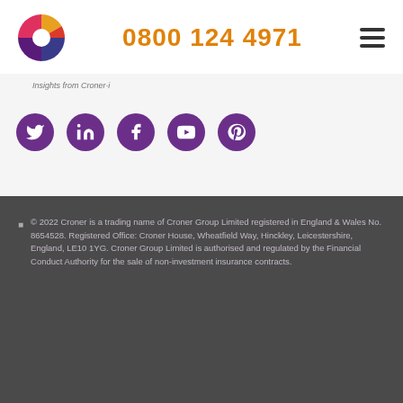0800 124 4971
Insights from Croner-i
[Figure (illustration): Five purple circular social media icons: Twitter, LinkedIn, Facebook, YouTube, Pinterest]
© 2022 Croner is a trading name of Croner Group Limited registered in England & Wales No. 8654528. Registered Office: Croner House, Wheatfield Way, Hinckley, Leicestershire, England, LE10 1YG. Croner Group Limited is authorised and regulated by the Financial Conduct Authority for the sale of non-investment insurance contracts.